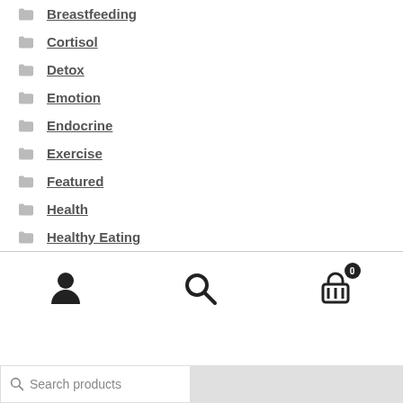Breastfeeding
Cortisol
Detox
Emotion
Endocrine
Exercise
Featured
Health
Healthy Eating
[Figure (screenshot): Bottom navigation bar with user icon, search icon, and shopping cart icon with badge showing 0]
[Figure (screenshot): Search bar at bottom showing search products input with magnifier icon, and a gray panel to the right]